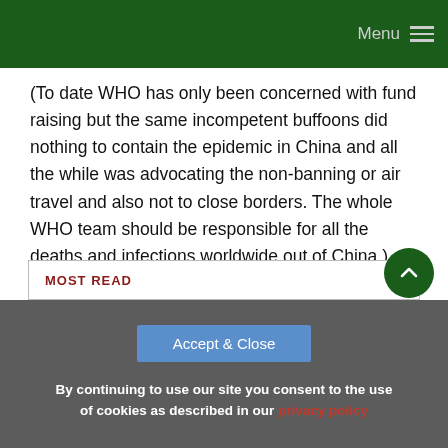Menu
(To date WHO has only been concerned with fund raising but the same incompetent buffoons did nothing to contain the epidemic in China and all the while was advocating the non-banning or air travel and also not to close borders. The whole WHO team should be responsible for all the deaths and infections worldwide out of China.)
MOST READ
By continuing to use our site you consent to the use of cookies as described in our privacy policy